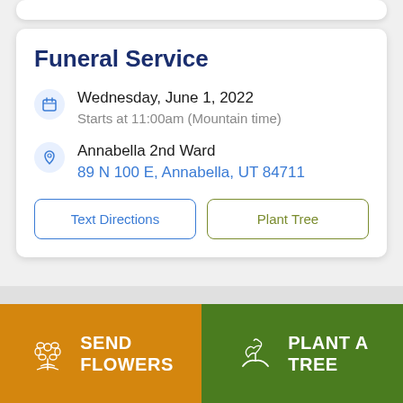Funeral Service
Wednesday, June 1, 2022
Starts at 11:00am (Mountain time)
Annabella 2nd Ward
89 N 100 E, Annabella, UT 84711
Text Directions
Plant Tree
SEND FLOWERS
PLANT A TREE